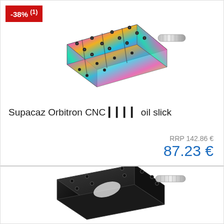[Figure (photo): Rainbow oil slick CNC aluminum flat bike pedal (Supacaz Orbitron CNC) viewed from above at an angle, showing multicolored iridescent finish with grip pins]
-38% (1)
Supacaz Orbitron CNC 🟫🟫🟫🟫 oil slick
RRP 142.86 €
87.23 €
[Figure (photo): Black flat bike pedal (second product), partially visible at the bottom of the page]